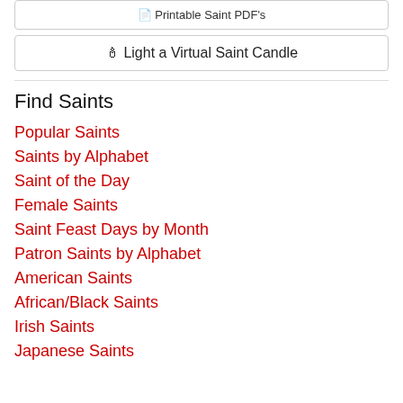📄 Printable Saint PDF's
🕯 Light a Virtual Saint Candle
Find Saints
Popular Saints
Saints by Alphabet
Saint of the Day
Female Saints
Saint Feast Days by Month
Patron Saints by Alphabet
American Saints
African/Black Saints
Irish Saints
Japanese Saints